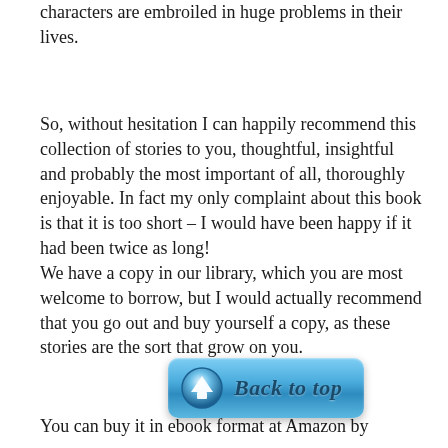characters are embroiled in huge problems in their lives.
So, without hesitation I can happily recommend this collection of stories to you, thoughtful, insightful and probably the most important of all, thoroughly enjoyable. In fact my only complaint about this book is that it is too short – I would have been happy if it had been twice as long!
We have a copy in our library, which you are most welcome to borrow, but I would actually recommend that you go out and buy yourself a copy, as these stories are the sort that grow on you.
[Figure (other): A blue rounded rectangular button with an upward-arrow icon on the left and italic bold text 'Back to top' in dark blue.]
You can buy it in ebook format at Amazon by